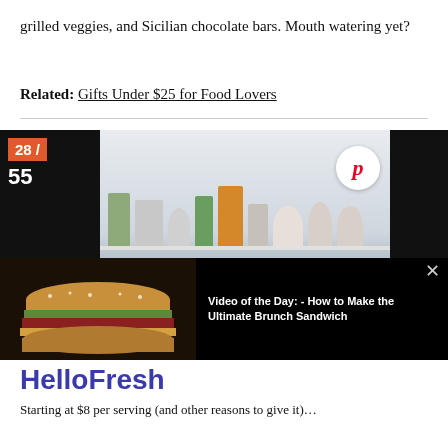grilled veggies, and Sicilian chocolate bars. Mouth watering yet?
Related: Gifts Under $25 for Food Lovers
[Figure (photo): Kitchen shelf photo with countdown badge 28/55 and Pinterest button overlay, plus video overlay showing sandwich image with text 'Video of the Day: - How to Make the Ultimate Brunch Sandwich']
HelloFresh
Starting at $8 per serving (and other reasons to give it)...